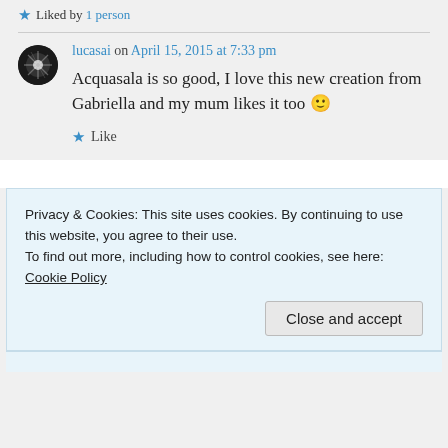★ Liked by 1 person
lucasai on April 15, 2015 at 7:33 pm
Acquasala is so good, I love this new creation from Gabriella and my mum likes it too 🙂
★ Like
Privacy & Cookies: This site uses cookies. By continuing to use this website, you agree to their use.
To find out more, including how to control cookies, see here: Cookie Policy
Close and accept